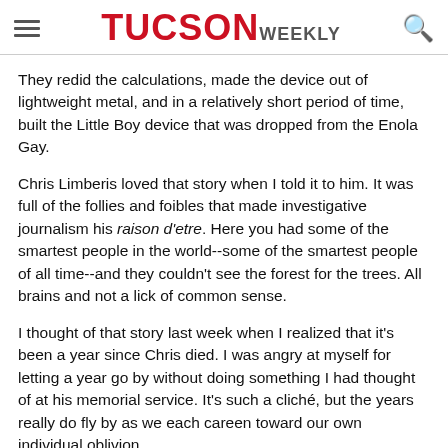TUCSON WEEKLY
They redid the calculations, made the device out of lightweight metal, and in a relatively short period of time, built the Little Boy device that was dropped from the Enola Gay.
Chris Limberis loved that story when I told it to him. It was full of the follies and foibles that made investigative journalism his raison d'etre. Here you had some of the smartest people in the world--some of the smartest people of all time--and they couldn't see the forest for the trees. All brains and not a lick of common sense.
I thought of that story last week when I realized that it's been a year since Chris died. I was angry at myself for letting a year go by without doing something I had thought of at his memorial service. It's such a cliché, but the years really do fly by as we each careen toward our own individual oblivion.